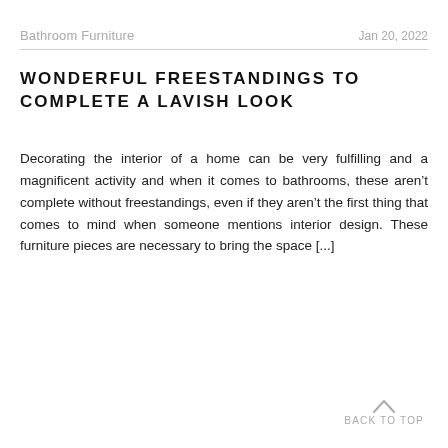Bathroom Furniture    Jan 20, 2022
WONDERFUL FREESTANDINGS TO COMPLETE A LAVISH LOOK
Decorating the interior of a home can be very fulfilling and a magnificent activity and when it comes to bathrooms, these aren’t complete without freestandings, even if they aren’t the first thing that comes to mind when someone mentions interior design. These furniture pieces are necessary to bring the space [...]
BACK TO TOP